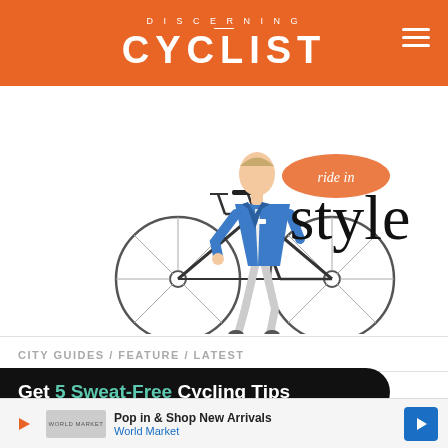DISCERNING CYCLIST
[Figure (illustration): Illustrated man in blue blazer and white trousers standing next to a bicycle, with text 'ride in style' overlaid. The word 'ride in' appears in an orange speech-bubble shape, and 'style' appears in large black serif font.]
CITY GUIDES / FEATURE / LATEST
Get 5 Sweat-Free Cycling Tips
Pop in & Shop New Arrivals World Market